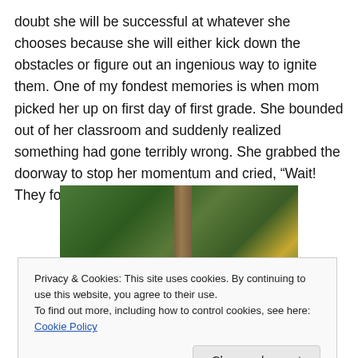doubt she will be successful at whatever she chooses because she will either kick down the obstacles or figure out an ingenious way to ignite them. One of my fondest memories is when mom picked her up on first day of first grade. She bounded out of her classroom and suddenly realized something had gone terribly wrong. She grabbed the doorway to stop her momentum and cried, “Wait! They forgot to teach me how to read!”
[Figure (photo): A photograph of trees with green foliage and a tree trunk visible in the center, outdoor forest scene]
Privacy & Cookies: This site uses cookies. By continuing to use this website, you agree to their use.
To find out more, including how to control cookies, see here: Cookie Policy
Close and accept
[Figure (photo): Partial photo visible at the bottom of the page, appears to show a person]